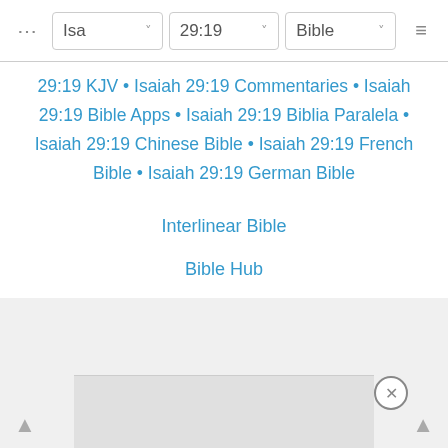Isa  29:19  Bible
29:19 KJV • Isaiah 29:19 Commentaries • Isaiah 29:19 Bible Apps • Isaiah 29:19 Biblia Paralela • Isaiah 29:19 Chinese Bible • Isaiah 29:19 French Bible • Isaiah 29:19 German Bible
Interlinear Bible
Bible Hub